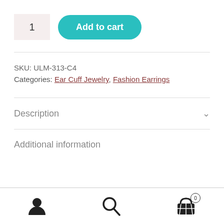1
Add to cart
SKU: ULM-313-C4
Categories: Ear Cuff Jewelry, Fashion Earrings
Description
Additional information
[Figure (other): Bottom navigation bar with user/account icon, search icon, and shopping cart icon with badge showing 0]